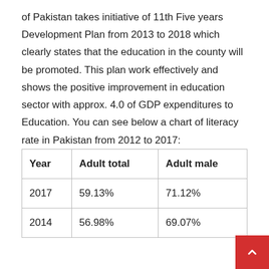of Pakistan takes initiative of 11th Five years Development Plan from 2013 to 2018 which clearly states that the education in the county will be promoted. This plan work effectively and shows the positive improvement in education sector with approx. 4.0 of GDP expenditures to Education. You can see below a chart of literacy rate in Pakistan from 2012 to 2017:
| Year | Adult total | Adult male |
| --- | --- | --- |
| 2017 | 59.13% | 71.12% |
| 2014 | 56.98% | 69.07% |